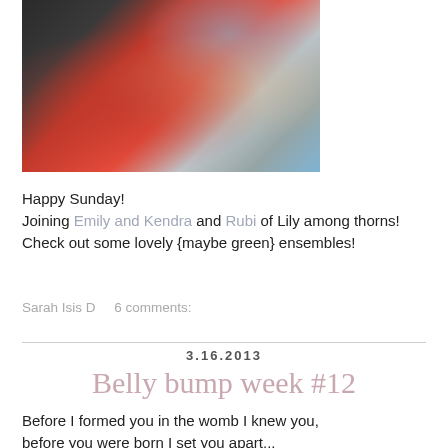[Figure (photo): Photo of a child in a red/pink jacket and an adult, with a blue cup visible]
Happy Sunday!
Joining Emily and Kendra and Rubi of Lily among thorns!
Check out some lovely {maybe green} ensembles!
Sarah Isis D    6 comments:
3.16.2013
Belly bump week #12
Before I formed you in the womb I knew you,
before you were born I set you apart...
Jeremiah 1:5